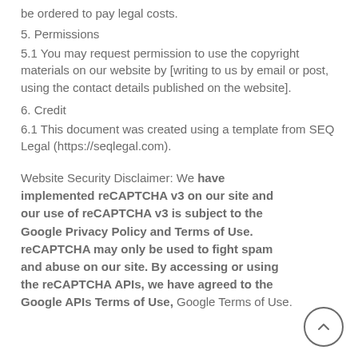be ordered to pay legal costs.
5. Permissions
5.1 You may request permission to use the copyright materials on our website by [writing to us by email or post, using the contact details published on the website].
6. Credit
6.1 This document was created using a template from SEQ Legal (https://seqlegal.com).
Website Security Disclaimer: We have implemented reCAPTCHA v3 on our site and our use of reCAPTCHA v3 is subject to the Google Privacy Policy and Terms of Use. reCAPTCHA may only be used to fight spam and abuse on our site. By accessing or using the reCAPTCHA APIs, we have agreed to the Google APIs Terms of Use, Google Terms of Use.